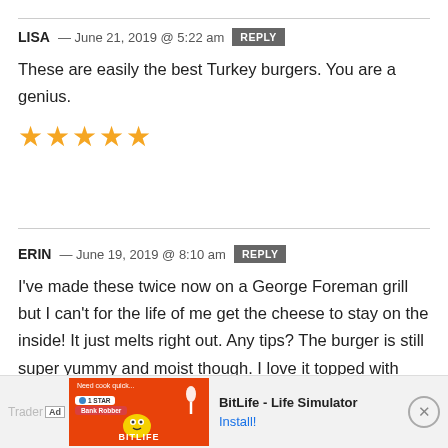LISA — June 21, 2019 @ 5:22 am REPLY
These are easily the best Turkey burgers. You are a genius.
[Figure (other): Five gold/yellow star rating icons]
ERIN — June 19, 2019 @ 8:10 am REPLY
I've made these twice now on a George Foreman grill but I can't for the life of me get the cheese to stay on the inside! It just melts right out. Any tips? The burger is still super yummy and moist though. I love it topped with
[Figure (screenshot): Advertisement banner for BitLife - Life Simulator app with orange background and install button]